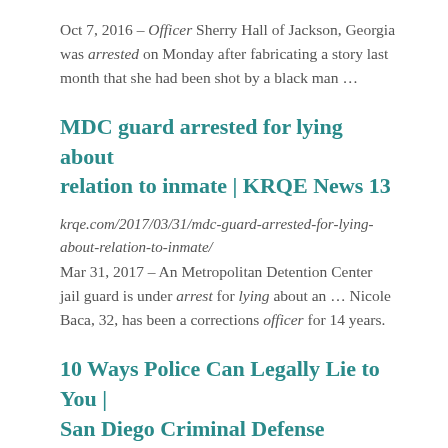Oct 7, 2016 – Officer Sherry Hall of Jackson, Georgia was arrested on Monday after fabricating a story last month that she had been shot by a black man …
MDC guard arrested for lying about relation to inmate | KRQE News 13
krqe.com/2017/03/31/mdc-guard-arrested-for-lying-about-relation-to-inmate/
Mar 31, 2017 – An Metropolitan Detention Center jail guard is under arrest for lying about an … Nicole Baca, 32, has been a corrections officer for 14 years.
10 Ways Police Can Legally Lie to You | San Diego Criminal Defense
http://www.njmoorelaw.com/10-ways-police-can-lie-to-